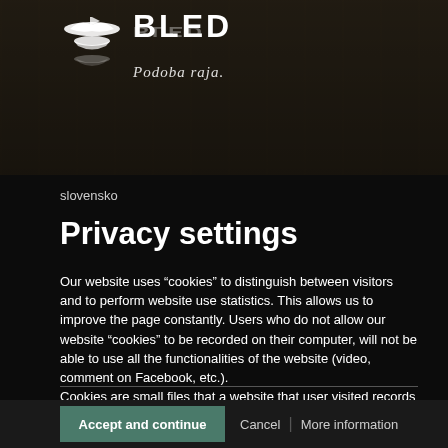[Figure (logo): Bled tourism logo with bird/boat icon, BLED text in bold white, reflected text below, and italic tagline 'Podoba raja.' in white]
slovensko
Privacy settings
Our website uses “cookies” to distinguish between visitors and to perform website use statistics. This allows us to improve the page constantly. Users who do not allow our website “cookies” to be recorded on their computer, will not be able to use all the functionalities of the website (video, comment on Facebook, etc.).
Cookies are small files that a website that user visited records on his computer. The next time uservisits the same site, he will be recognised by the system...
Accept and continue
Cancel
More information